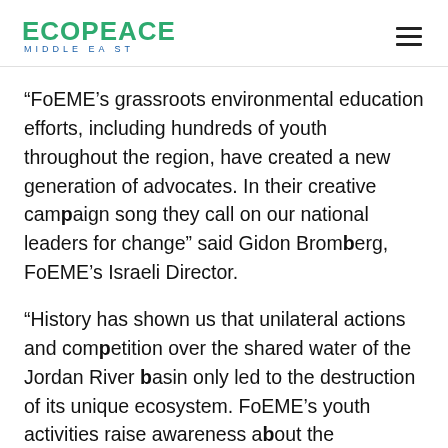ECOPEACE MIDDLE EAST
“FoEME’s grassroots environmental education efforts, including hundreds of youth throughout the region, have created a new generation of advocates. In their creative campaign song they call on our national leaders for change” said Gidon Bromberg, FoEME’s Israeli Director.
“History has shown us that unilateral actions and competition over the shared water of the Jordan River basin only led to the destruction of its unique ecosystem. FoEME’s youth activities raise awareness about the importance of thinking and acting ‘regionally’ including equal water rights